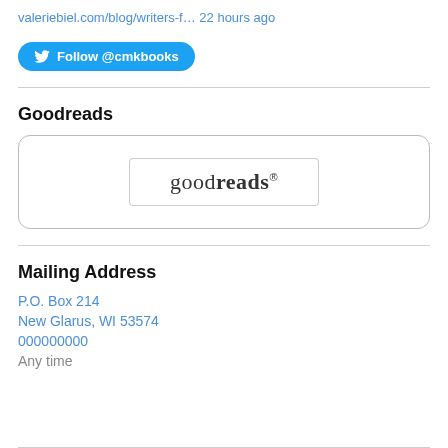valeriebiel.com/blog/writers-f… 22 hours ago
Follow @cmkbooks
Goodreads
[Figure (logo): Goodreads logo inside a rounded rectangle border inside a larger rounded rectangle container]
Mailing Address
P.O. Box 214
New Glarus, WI 53574
000000000
Any time